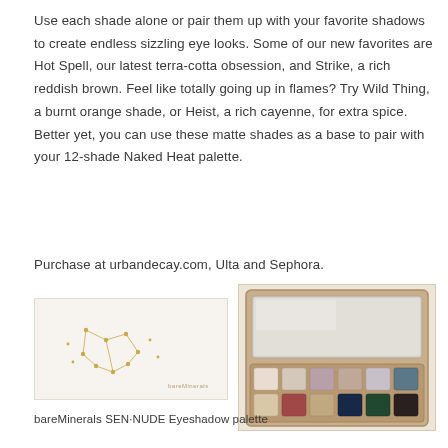Use each shade alone or pair them up with your favorite shadows to create endless sizzling eye looks. Some of our new favorites are Hot Spell, our latest terra-cotta obsession, and Strike, a rich reddish brown. Feel like totally going up in flames? Try Wild Thing, a burnt orange shade, or Heist, a rich cayenne, for extra spice. Better yet, you can use these matte shades as a base to pair with your 12-shade Naked Heat palette.
Purchase at urbandecay.com, Ulta and Sephora.
[Figure (photo): White rectangular makeup palette box with a gold constellation dot pattern design and 'bareMinerals' text in the bottom right corner]
[Figure (photo): Open eyeshadow palette with a large mirror on top and two rows of 12 eyeshadow pans in various nude, mauve, teal, and dark shades in a gold/tan case]
bareMinerals SEN·NUDE Eyeshadow palette